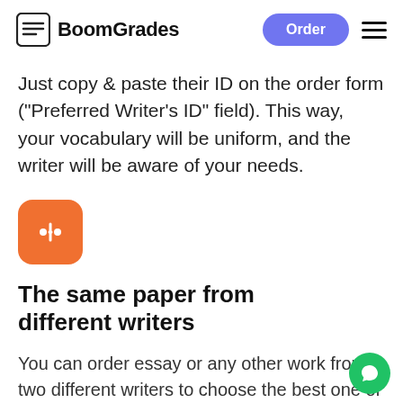BoomGrades
Just copy & paste their ID on the order form ("Preferred Writer's ID" field). This way, your vocabulary will be uniform, and the writer will be aware of your needs.
[Figure (logo): Orange rounded square icon with a white cursor/split symbol]
The same paper from different writers
You can order essay or any other work from two different writers to choose the best one or give another version to a friend. This can be done